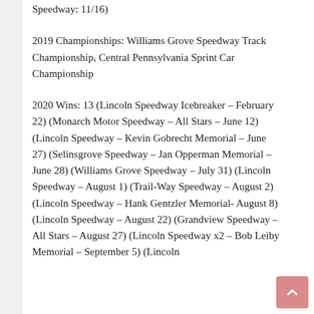Speedway: 11/16)
2019 Championships: Williams Grove Speedway Track Championship, Central Pennsylvania Sprint Car Championship
2020 Wins: 13 (Lincoln Speedway Icebreaker – February 22) (Monarch Motor Speedway – All Stars – June 12) (Lincoln Speedway – Kevin Gobrecht Memorial – June 27) (Selinsgrove Speedway – Jan Opperman Memorial – June 28) (Williams Grove Speedway – July 31) (Lincoln Speedway – August 1) (Trail-Way Speedway – August 2) (Lincoln Speedway – Hank Gentzler Memorial- August 8) (Lincoln Speedway – August 22) (Grandview Speedway – All Stars – August 27) (Lincoln Speedway x2 – Bob Leiby Memorial – September 5) (Lincoln